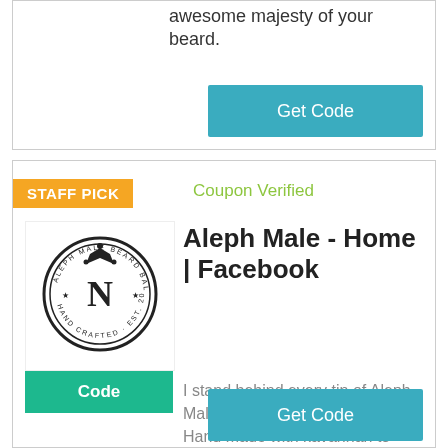awesome majesty of your beard.
Get Code
STAFF PICK
Coupon Verified
[Figure (logo): Aleph Male circular seal logo with crown and letters]
Code
Aleph Male - Home | Facebook
I stand behind every tin of Aleph Male Beard Balm and Beard Oil. Hand made with kavannah to bring do... wn shefa blessing on all who annoint themselves with it.
Get Code